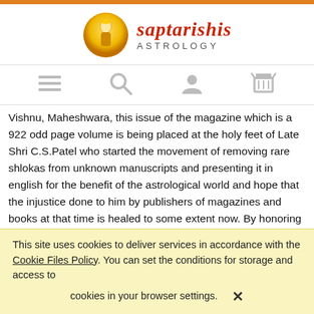[Figure (logo): Saptarishis Astrology logo with a golden deity figure and red italic text 'saptarishis' above 'ASTROLOGY']
[Figure (infographic): Navigation icons: hamburger menu, search magnifying glass, user profile, shopping cart]
Vishnu, Maheshwara, this issue of the magazine which is a 922 odd page volume is being placed at the holy feet of Late Shri C.S.Patel who started the movement of removing rare shlokas from unknown manuscripts and presenting it in english for the benefit of the astrological world and hope that the injustice done to him by publishers of magazines and books at that time is healed to some extent now. By honoring such a gifted soul who did not have any guru or parampara or organisation or great money behind him one only exemplifies that even you can also
This site uses cookies to deliver services in accordance with the Cookie Files Policy. You can set the conditions for storage and access to cookies in your browser settings. ✕